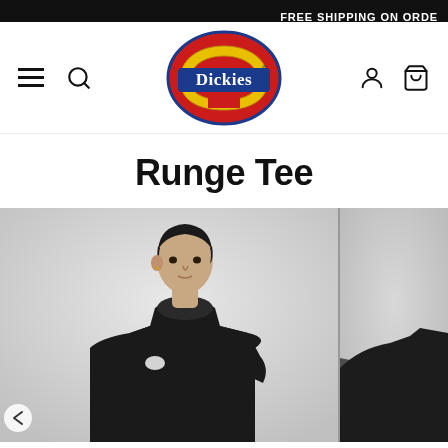FREE SHIPPING ON ORDE
[Figure (logo): Dickies brand logo — red oval with yellow horseshoe shape, blue banner reading 'Dickies' in white serif font]
Runge Tee
[Figure (photo): Man wearing a black Dickies Runge Tee t-shirt with small Dickies logo patch on chest, photographed against a light grey background]
[Figure (photo): Partial second photo of a model, cropped at right edge]